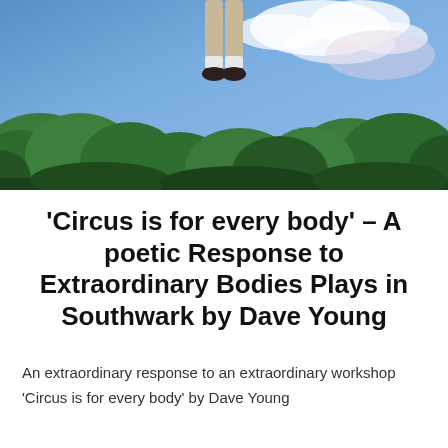[Figure (photo): A person jumping or floating in the air, visible from the waist down wearing beige trousers, white socks and dark shoes, against a blue sky with white clouds and green trees below.]
'Circus is for every body' – A poetic Response to Extraordinary Bodies Plays in Southwark by Dave Young
An extraordinary response to an extraordinary workshop
'Circus is for every body' by Dave Young